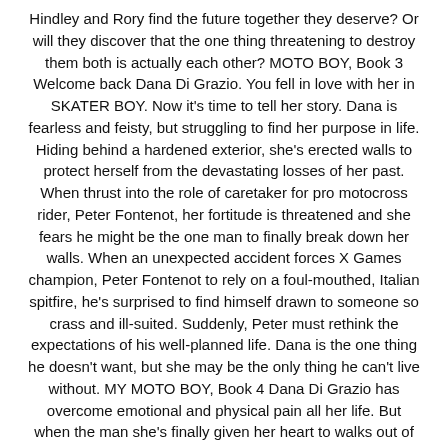Hindley and Rory find the future together they deserve? Or will they discover that the one thing threatening to destroy them both is actually each other? MOTO BOY, Book 3 Welcome back Dana Di Grazio. You fell in love with her in SKATER BOY. Now it's time to tell her story. Dana is fearless and feisty, but struggling to find her purpose in life. Hiding behind a hardened exterior, she's erected walls to protect herself from the devastating losses of her past. When thrust into the role of caretaker for pro motocross rider, Peter Fontenot, her fortitude is threatened and she fears he might be the one man to finally break down her walls. When an unexpected accident forces X Games champion, Peter Fontenot to rely on a foul-mouthed, Italian spitfire, he's surprised to find himself drawn to someone so crass and ill-suited. Suddenly, Peter must rethink the expectations of his well-planned life. Dana is the one thing he doesn't want, but she may be the only thing he can't live without. MY MOTO BOY, Book 4 Dana Di Grazio has overcome emotional and physical pain all her life. But when the man she's finally given her heart to walks out of her life after learning all her secrets, she's left feeling abandoned and alone, unworthy of love.